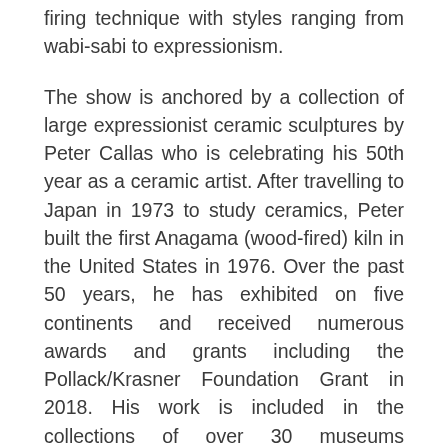firing technique with styles ranging from wabi-sabi to expressionism.
The show is anchored by a collection of large expressionist ceramic sculptures by Peter Callas who is celebrating his 50th year as a ceramic artist. After travelling to Japan in 1973 to study ceramics, Peter built the first Anagama (wood-fired) kiln in the United States in 1976. Over the past 50 years, he has exhibited on five continents and received numerous awards and grants including the Pollack/Krasner Foundation Grant in 2018. His work is included in the collections of over 30 museums worldwide, including the Metropolitan Museum of Art. Sculptural works by many other artists are also included in the current exhibition.